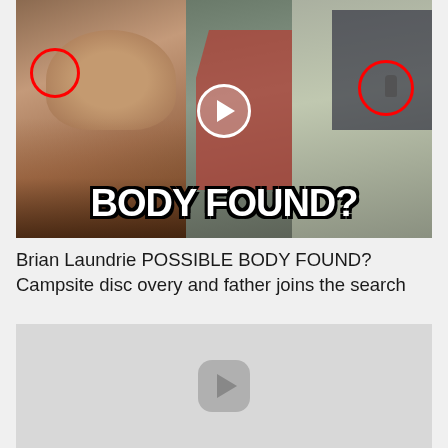[Figure (screenshot): Video thumbnail showing Brian Laundrie's face on the left with a red circle highlight, a man standing by a red SUV in the center, and an aerial view of a person by a dark SUV on the right with a red circle highlight. A play button is overlaid in the center. Bold white text reads 'BODY FOUND?' overlaid at the bottom.]
Brian Laundrie POSSIBLE BODY FOUND? Campsite discovery and father joins the search
[Figure (screenshot): Second video thumbnail placeholder, shown as a gray rectangle with a rounded-square play button icon in the center.]